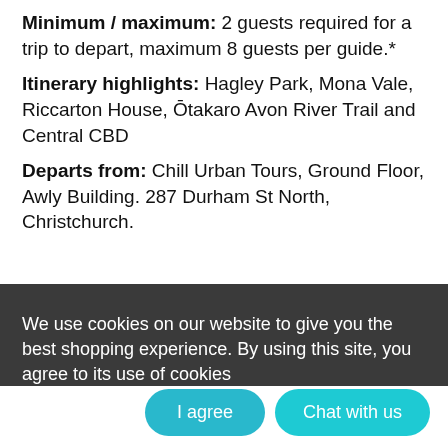Minimum / maximum: 2 guests required for a trip to depart, maximum 8 guests per guide.*
Itinerary highlights: Hagley Park, Mona Vale, Riccarton House, Ōtakaro Avon River Trail and Central CBD
Departs from: Chill Urban Tours, Ground Floor, Awly Building. 287 Durham St North, Christchurch.
Cancellation Policy:
We use cookies on our website to give you the best shopping experience. By using this site, you agree to its use of cookies
- If you cancel 21 days or more before your tour date, you can apply for a refund less 15% deposit (admin fee)